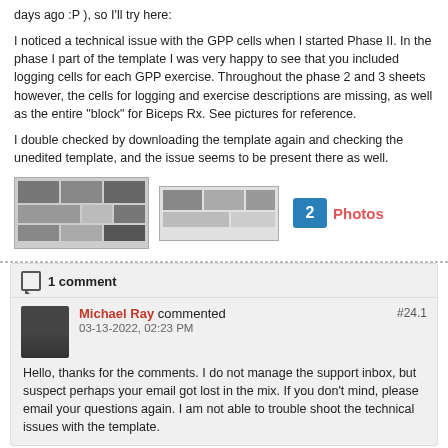days ago :P ), so I'll try here:
I noticed a technical issue with the GPP cells when I started Phase II. In the phase I part of the template I was very happy to see that you included logging cells for each GPP exercise. Throughout the phase 2 and 3 sheets however, the cells for logging and exercise descriptions are missing, as well as the entire "block" for Biceps Rx. See pictures for reference.
I double checked by downloading the template again and checking the unedited template, and the issue seems to be present there as well.
[Figure (screenshot): Two thumbnail screenshots of spreadsheet/template pages showing missing cells]
2 Photos
1 comment
Michael Ray commented #24.1 03-13-2022, 02:23 PM
Hello, thanks for the comments. I do not manage the support inbox, but suspect perhaps your email got lost in the mix. If you don't mind, please email your questions again. I am not able to trouble shoot the technical issues with the template.
zombielunchbox
Junior Member